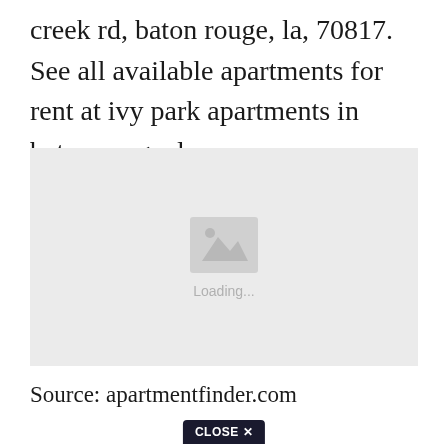creek rd, baton rouge, la, 70817. See all available apartments for rent at ivy park apartments in baton rouge, la.
[Figure (photo): Image placeholder with loading icon and 'Loading...' text on a light gray background]
Source: apartmentfinder.com
CLOSE ✕